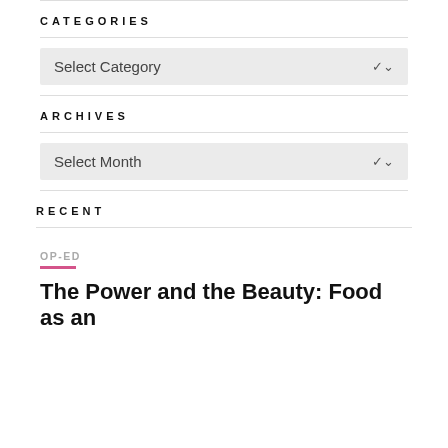CATEGORIES
Select Category
ARCHIVES
Select Month
RECENT
OP-ED
The Power and the Beauty: Food as an